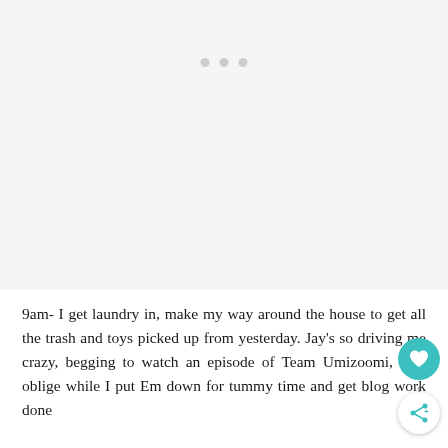[Figure (other): Light gray placeholder image area with three light gray dots near the top center, indicating a loading or carousel indicator.]
9am- I get laundry in, make my way around the house to get all the trash and toys picked up from yesterday. Jay's so driving me crazy, begging to watch an episode of Team Umizoomi, so I oblige while I put Em down for tummy time and get blog work done